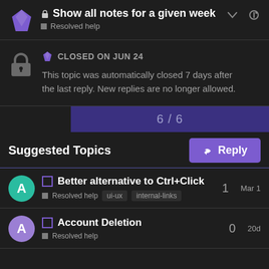🔒 Show all notes for a given week
■ Resolved help
CLOSED ON JUN 24
This topic was automatically closed 7 days after the last reply. New replies are no longer allowed.
6 / 6
Suggested Topics
Better alternative to Ctrl+Click
■ Resolved help  ui-ux  internal-links
1  Mar 1
Account Deletion
■ Resolved help
0  20d